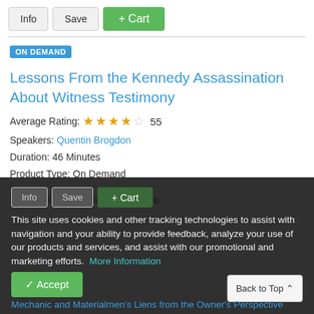Info  Save  + Cart
ON DEMAND
Lessons From the Kennedy Assassination About Witness Testimony
Average Rating: ★★★★☆  55
Speakers: Quentin Brogdon
Duration: 46 Minutes
Product Type: On Demand
$125.00 - Non-Member Price
This site uses cookies and other tracking technologies to assist with navigation and your ability to provide feedback, analyze your use of our products and services, and assist with our promotional and marketing efforts.  More Information
✓ Accept
Back to Top ∧
Mechanic and Materialmen's Liens from the Owner's Perspective